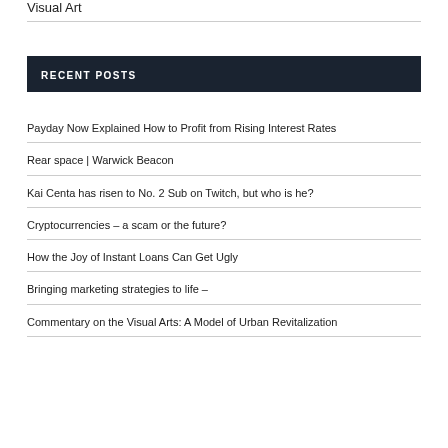Visual Art
RECENT POSTS
Payday Now Explained How to Profit from Rising Interest Rates
Rear space | Warwick Beacon
Kai Centa has risen to No. 2 Sub on Twitch, but who is he?
Cryptocurrencies – a scam or the future?
How the Joy of Instant Loans Can Get Ugly
Bringing marketing strategies to life –
Commentary on the Visual Arts: A Model of Urban Revitalization